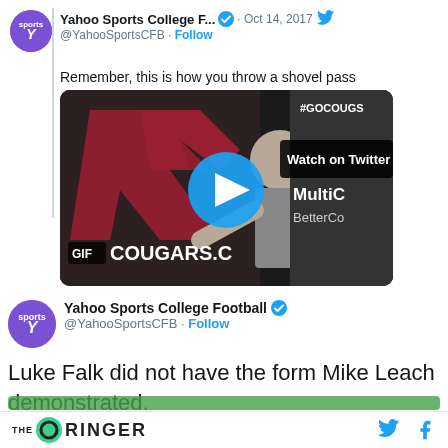[Figure (screenshot): Yahoo Sports College Football Twitter account avatar - purple circle with Y sports logo]
Yahoo Sports College F... ✓ · Oct 14, 2017
@YahooSportsCFB · Follow
Remember, this is how you throw a shovel pass
[Figure (screenshot): Video thumbnail showing Mike Leach demonstrating a shovel pass in front of WSU Cougars logo, with play button overlay. Shows 'Watch on Twitter', 'MultiC', 'BetterCo', '#GOCOUGS', 'GIF COUGARS.C' text elements.]
[Figure (screenshot): Yahoo Sports College Football Twitter account avatar - purple circle with Y sports logo]
Yahoo Sports College Football ✓
@YahooSportsCFB · Follow
Luke Falk did not have the form Mike Leach demonstrated.
THE RINGER